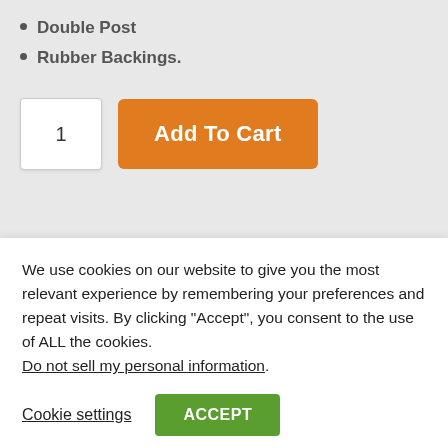Double Post
Rubber Backings.
Other Important Details
We use cookies on our website to give you the most relevant experience by remembering your preferences and repeat visits. By clicking “Accept”, you consent to the use of ALL the cookies. Do not sell my personal information.